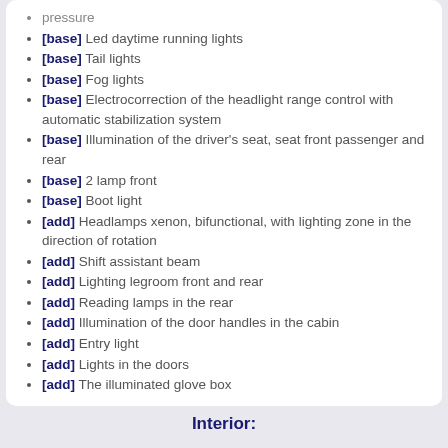pressure
[base] Led daytime running lights
[base] Tail lights
[base] Fog lights
[base] Electrocorrection of the headlight range control with automatic stabilization system
[base] Illumination of the driver's seat, seat front passenger and rear
[base] 2 lamp front
[base] Boot light
[add] Headlamps xenon, bifunctional, with lighting zone in the direction of rotation
[add] Shift assistant beam
[add] Lighting legroom front and rear
[add] Reading lamps in the rear
[add] Illumination of the door handles in the cabin
[add] Entry light
[add] Lights in the doors
[add] The illuminated glove box
Interior:
[base] Upholstery fabric Cosine, color of upholstery: black - black (black)
[base] The headliner cloth
[base] Decorative inserts, reflex lacquer